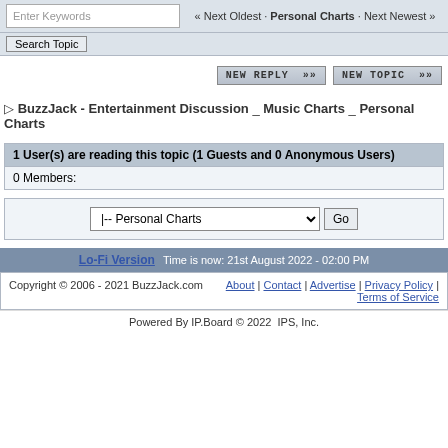Enter Keywords | « Next Oldest · Personal Charts · Next Newest »
Search Topic
NEW REPLY >> NEW TOPIC >>
▷ BuzzJack - Entertainment Discussion _ Music Charts _ Personal Charts
1 User(s) are reading this topic (1 Guests and 0 Anonymous Users)
0 Members:
|-- Personal Charts   Go
Lo-Fi Version   Time is now: 21st August 2022 - 02:00 PM
Copyright © 2006 - 2021 BuzzJack.com   About | Contact | Advertise | Privacy Policy | Terms of Service
Powered By IP.Board © 2022  IPS, Inc.